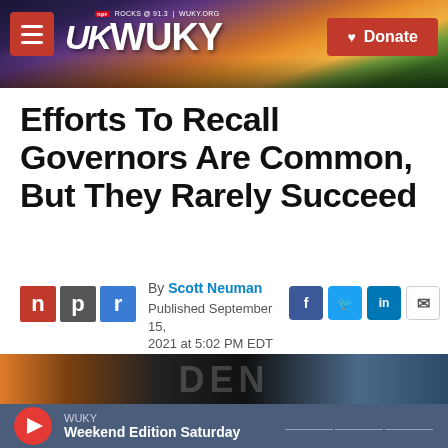[Figure (screenshot): WUKY NPR radio station website header banner with sunset/countryside background, hamburger menu button on left, WUKY logo in center, and red Donate button on right]
Efforts To Recall Governors Are Common, But They Rarely Succeed
By Scott Neuman
Published September 15, 2021 at 5:02 PM EDT
[Figure (photo): Partial photo showing a person or crowd scene, partially cropped at bottom of page]
WUKY
Weekend Edition Saturday